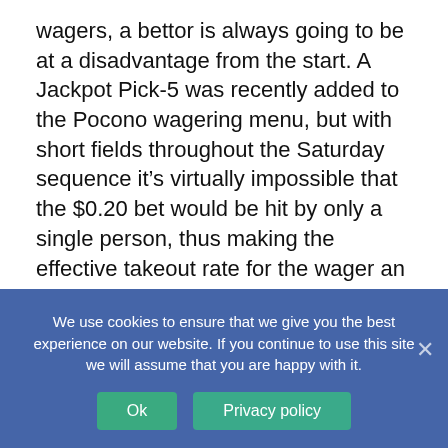wagers, a bettor is always going to be at a disadvantage from the start. A Jackpot Pick-5 was recently added to the Pocono wagering menu, but with short fields throughout the Saturday sequence it's virtually impossible that the $0.20 bet would be hit by only a single person, thus making the effective takeout rate for the wager an astronomical percentage, as discussed here previously.
Despite the drawbacks from a wagering standpoint there are still many compelling storylines to follow as the races unfold. And I
We use cookies to ensure that we give you the best experience on our website. If you continue to use this site we will assume that you are happy with it.
Ok
Privacy policy